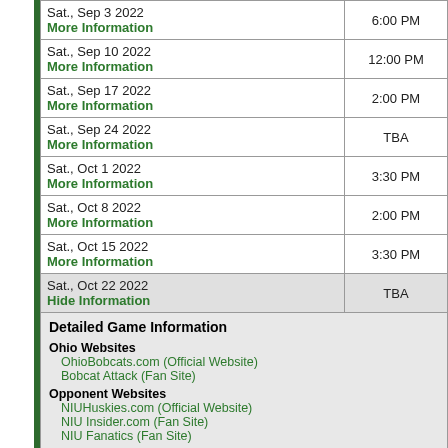| Date | Time |
| --- | --- |
| Sat., Sep 3 2022
More Information | 6:00 PM |
| Sat., Sep 10 2022
More Information | 12:00 PM |
| Sat., Sep 17 2022
More Information | 2:00 PM |
| Sat., Sep 24 2022
More Information | TBA |
| Sat., Oct 1 2022
More Information | 3:30 PM |
| Sat., Oct 8 2022
More Information | 2:00 PM |
| Sat., Oct 15 2022
More Information | 3:30 PM |
| Sat., Oct 22 2022
Hide Information | TBA |
| Tue., Nov 1 2022
More Information | 7:00 PM |
Detailed Game Information
Ohio Websites
OhioBobcats.com (Official Website)
Bobcat Attack (Fan Site)
Opponent Websites
NIUHuskies.com (Official Website)
NIU Insider.com (Fan Site)
NIU Fanatics (Fan Site)
Game Links
None